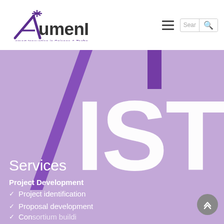[Figure (logo): AcumenIST logo with star-like decoration on the A, text 'AcumenIST' in purple bold font, tagline 'smart Innovation in Science & Technology' in purple italic below]
[Figure (screenshot): Navigation bar with hamburger menu icon and search input field with magnifying glass icon]
[Figure (illustration): Purple hero banner with large white text 'IST', diagonal dark purple slash accent, and a vertical dark purple rectangle above the text]
Services
Project Development
Project identification
Proposal development